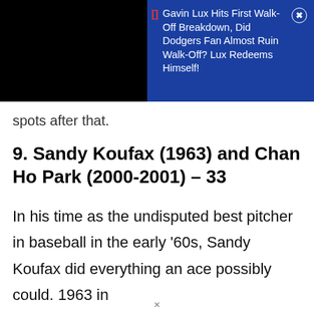[Figure (screenshot): Top overlay with black panel on left and blue advertisement panel on right. Ad reads: '[] Gavin Lux Hits First Walk-Off Breakdown, Did Dodgers Fan Almost Ruin Walk-Off? Lux Redeems Himself!' with a close (X) button.]
spots after that.
9. Sandy Koufax (1963) and Chan Ho Park (2000-2001) – 33
In his time as the undisputed best pitcher in baseball in the early '60s, Sandy Koufax did everything an ace possibly could. 1963 in